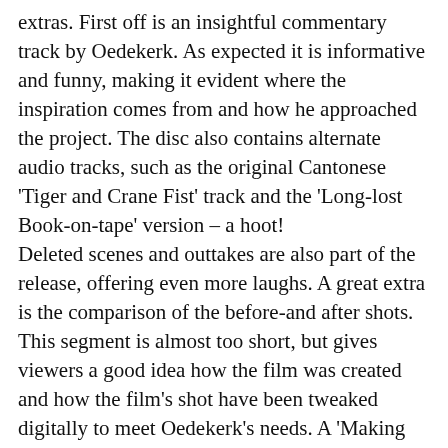extras. First off is an insightful commentary track by Oedekerk. As expected it is informative and funny, making it evident where the inspiration comes from and how he approached the project. The disc also contains alternate audio tracks, such as the original Cantonese 'Tiger and Crane Fist' track and the 'Long-lost Book-on-tape' version – a hoot! Deleted scenes and outtakes are also part of the release, offering even more laughs. A great extra is the comparison of the before-and after shots. This segment is almost too short, but gives viewers a good idea how the film was created and how the film's shot have been tweaked digitally to meet Oedekerk's needs. A 'Making Of' Featurette and a look at the Kung Fu Cow animatics are also included, as well as the movie's trailer and promo spots.
I can see that a few people may be offended by 'Kung Pow's' approach to the martial arts genre, as nothing remains untouched. But at the same time, if you are